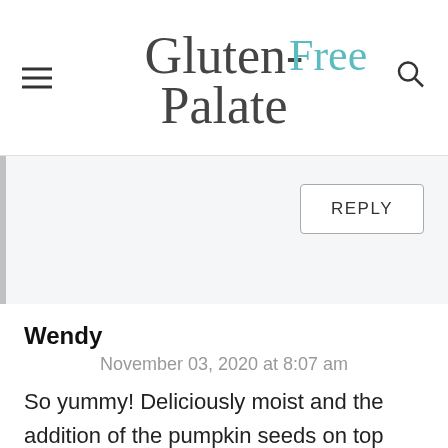Gluten-Free Palate
REPLY
Wendy
November 03, 2020 at 8:07 am
So yummy! Deliciously moist and the addition of the pumpkin seeds on top adds such a nice change in texture. Will defo be making again. Only thing